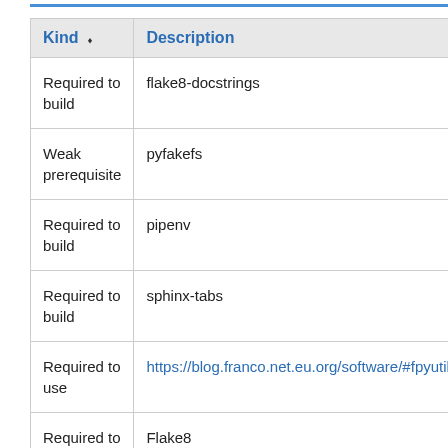| Kind | Description |
| --- | --- |
| Required to build | flake8-docstrings |
| Weak prerequisite | pyfakefs |
| Required to build | pipenv |
| Required to build | sphinx-tabs |
| Required to use | https://blog.franco.net.eu.org/software/#fpyutils |
| Required to build | Flake8 |
| Required to | Setuptools |